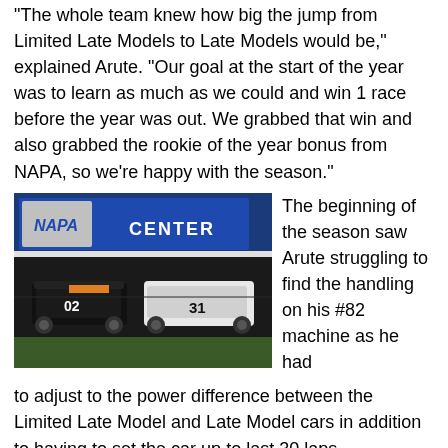"The whole team knew how big the jump from Limited Late Models to Late Models would be," explained Arute. "Our goal at the start of the year was to learn as much as we could and win 1 race before the year was out. We grabbed that win and also grabbed the rookie of the year bonus from NAPA, so we're happy with the season."
[Figure (photo): Racing photo showing Late Model stock cars numbered 02 and 31 racing on a track at night, with a NAPA Auto Parts Center sign visible in the background.]
The beginning of the season saw Arute struggling to find the handling on his #82 machine as he had to adjust to the power difference between the Limited Late Model and Late Model cars in addition to having to set the car up to last 30 laps